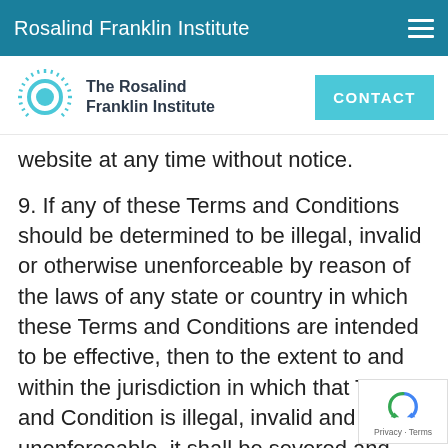Rosalind Franklin Institute
[Figure (logo): The Rosalind Franklin Institute logo with sunburst/circular icon and text]
website at any time without notice.
9. If any of these Terms and Conditions should be determined to be illegal, invalid or otherwise unenforceable by reason of the laws of any state or country in which these Terms and Conditions are intended to be effective, then to the extent to and within the jurisdiction in which that Term and Condition is illegal, invalid and unenforceable, it shall be severed and